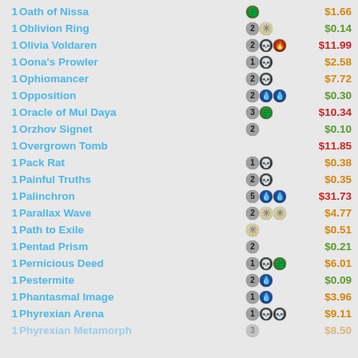1 Oath of Nissa - $1.66
1 Oblivion Ring - $0.14
1 Olivia Voldaren - $11.99
1 Oona's Prowler - $2.58
1 Ophiomancer - $7.72
1 Opposition - $0.30
1 Oracle of Mul Daya - $10.34
1 Orzhov Signet - $0.10
1 Overgrown Tomb - $11.85
1 Pack Rat - $0.38
1 Painful Truths - $0.35
1 Palinchron - $31.73
1 Parallax Wave - $4.77
1 Path to Exile - $0.51
1 Pentad Prism - $0.21
1 Pernicious Deed - $6.01
1 Pestermite - $0.09
1 Phantasmal Image - $3.96
1 Phyrexian Arena - $9.11
1 Phyrexian Metamorph - $8.50